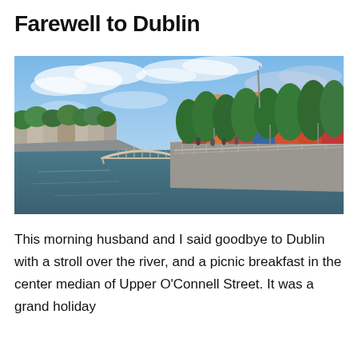Farewell to Dublin
[Figure (photo): A riverside scene in Dublin showing the River Liffey with the Ha'penny Bridge in the background, lined with green trees and shops on the right bank, under a partly cloudy blue sky.]
This morning husband and I said goodbye to Dublin with a stroll over the river, and a picnic breakfast in the center median of Upper O'Connell Street. It was a grand holiday